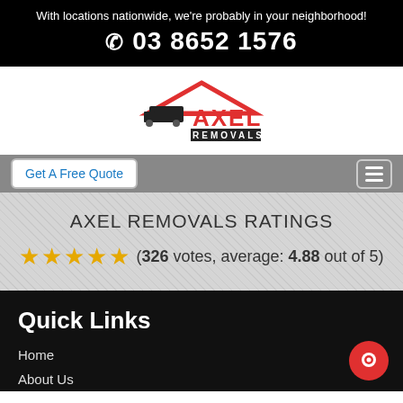With locations nationwide, we're probably in your neighborhood!
03 8652 1576
[Figure (logo): Axel Removals logo with red roof outline and moving truck icon]
Get A Free Quote
AXEL REMOVALS RATINGS
(326 votes, average: 4.88 out of 5)
Quick Links
Home
About Us